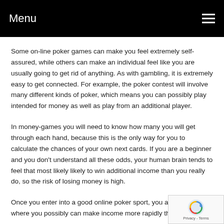Menu
Some on-line poker games can make you feel extremely self-assured, while others can make an individual feel like you are usually going to get rid of anything. As with gambling, it is extremely easy to get connected. For example, the poker contest will involve many different kinds of poker, which means you can possibly play intended for money as well as play from an additional player.
In money-games you will need to know how many you will get through each hand, because this is the only way for you to calculate the chances of your own next cards. If you are a beginner and you don't understand all these odds, your human brain tends to feel that most likely likely to win additional income than you really do, so the risk of losing money is high.
Once you enter into a good online poker sport, you are now world where you possibly can make income more rapidly than you